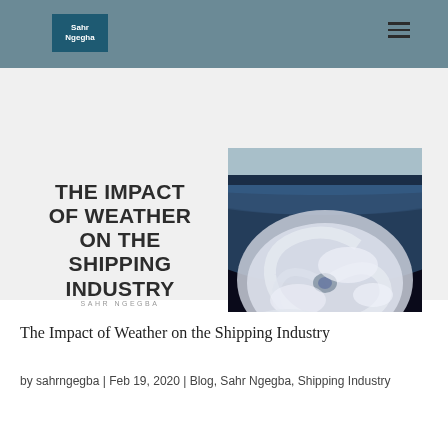Sahr Ngegba
[Figure (photo): Aerial satellite view of a hurricane/cyclone from space, showing swirling cloud formations over the ocean with Earth's curved horizon visible at top]
THE IMPACT OF WEATHER ON THE SHIPPING INDUSTRY
SAHR NGEGBA
The Impact of Weather on the Shipping Industry
by sahrngegba | Feb 19, 2020 | Blog, Sahr Ngegba, Shipping Industry